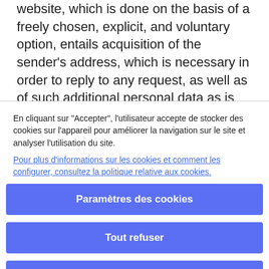website, which is done on the basis of a freely chosen, explicit, and voluntary option, entails acquisition of the sender's address, which is necessary in order to reply to any request, as well as of such additional personal data as is contained in the message(s). Specific summary information notices will be shown and/or displayed on the pages that are
En cliquant sur "Accepter", l'utilisateur accepte de stocker des cookies sur l'appareil pour améliorer la navigation sur le site et analyser l'utilisation du site.
Pour plus d'informations sur les cookies et comment les configurer, consultez la politique relative aux cookies.
Paramètres des cookies
Tout refuser
Accepter